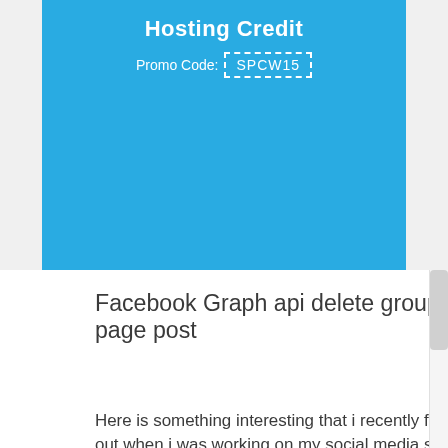[Figure (other): Blue advertisement banner for hosting credit with promo code SPCW15]
Facebook Graph api delete group or page post
Here is something interesting that i recently found out when i was working on my social media site, toolbox.my. I was trying to delet post that was sent out from this app but there